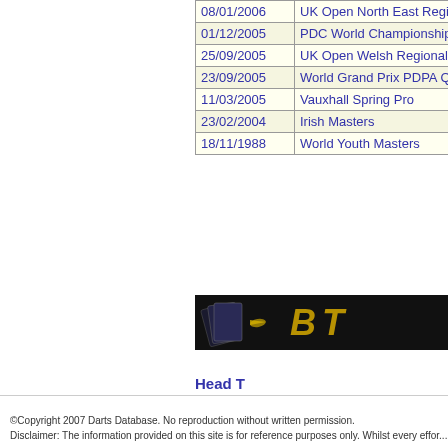| Date | Event |
| --- | --- |
| 08/01/2006 | UK Open North East Regional |
| 01/12/2005 | PDC World Championship Qu |
| 25/09/2005 | UK Open Welsh Regional Fina |
| 23/09/2005 | World Grand Prix PDPA Quali |
| 11/03/2005 | Vauxhall Spring Pro |
| 23/02/2004 | Irish Masters |
| 18/11/1988 | World Youth Masters |
Head T
[Figure (other): Black banner with darts/cards image and logo letters 'BT' in gold]
©Copyright 2007 Darts Database. No reproduction without written permission.
Disclaimer: The information provided on this site is for reference purposes only. Whilst every effort...